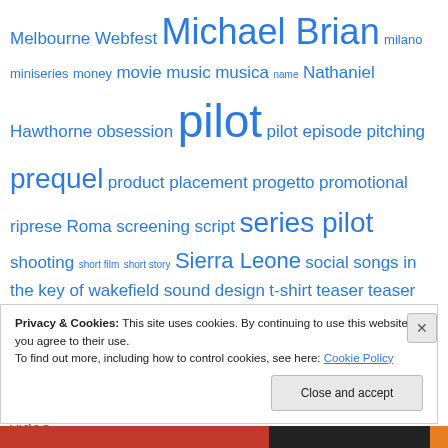Melbourne Webfest Michael Brian milano miniseries money movie music musica name Nathaniel Hawthorne obsession pilot pilot episode pitching prequel product placement progetto promotional riprese Roma screening script series pilot shooting short film short story Sierra Leone social songs in the key of wakefield sound design t-shirt teaser teaser trailer tecnologia investigativa teleprompter television television development TIFF title graphics Toronto Torre del Lago trailer treatment Truffaut tv video Wakefield Wakefield Variation webfest webseries
Privacy & Cookies: This site uses cookies. By continuing to use this website, you agree to their use. To find out more, including how to control cookies, see here: Cookie Policy
Close and accept